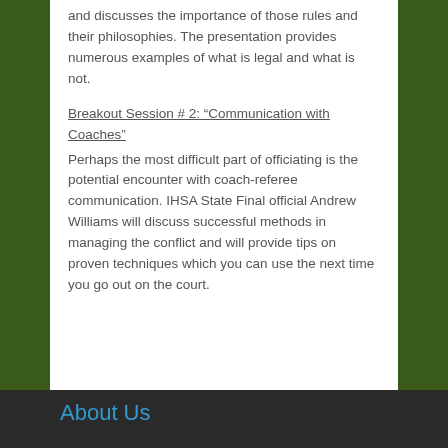and discusses the importance of those rules and their philosophies. The presentation provides numerous examples of what is legal and what is not.
Breakout Session # 2: “Communication with Coaches”
Perhaps the most difficult part of officiating is the potential encounter with coach-referee communication. IHSA State Final official Andrew Williams will discuss successful methods in managing the conflict and will provide tips on proven techniques which you can use the next time you go out on the court.
About Us